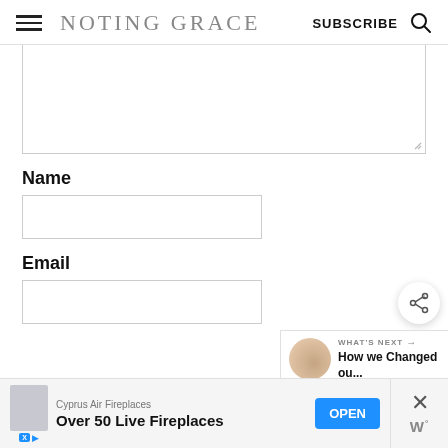NOTING GRACE — SUBSCRIBE
[Figure (screenshot): Large empty textarea with resize handle at bottom right]
Name
[Figure (screenshot): Empty name input field]
Email
[Figure (screenshot): Empty email input field]
[Figure (screenshot): Share button (floating circle with share icon)]
[Figure (screenshot): What's Next panel: thumbnail image with text 'WHAT'S NEXT → How we Changed ou...']
[Figure (screenshot): Advertisement banner: Cyprus Air Fireplaces — Over 50 Live Fireplaces — OPEN button]